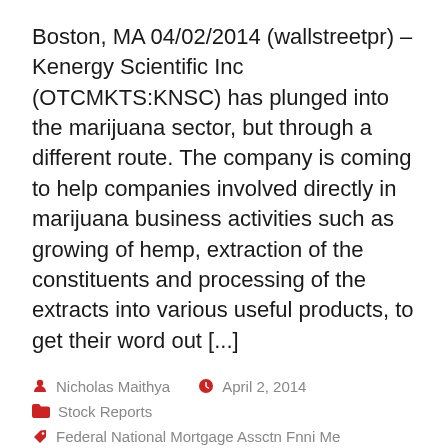Boston, MA 04/02/2014 (wallstreetpr) – Kenergy Scientific Inc (OTCMKTS:KNSC) has plunged into the marijuana sector, but through a different route. The company is coming to help companies involved directly in marijuana business activities such as growing of hemp, extraction of the constituents and processing of the extracts into various useful products, to get their word out [...]
Nicholas Maithya   April 2, 2014
Stock Reports
Federal National Mortgage Assctn Fnni Me (OTCBB:FNMA), Kenergy Scientific Inc